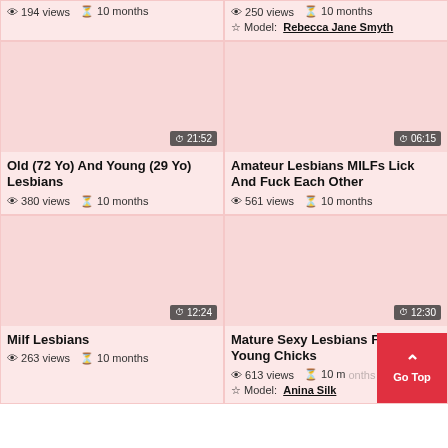194 views  10 months
250 views  10 months
Model: Rebecca Jane Smyth
[Figure (photo): Video thumbnail - Old (72 Yo) And Young (29 Yo) Lesbians, duration 21:52]
Old (72 Yo) And Young (29 Yo) Lesbians
380 views  10 months
[Figure (photo): Video thumbnail - Amateur Lesbians MILFs Lick And Fuck Each Other, duration 06:15]
Amateur Lesbians MILFs Lick And Fuck Each Other
561 views  10 months
[Figure (photo): Video thumbnail - Milf Lesbians, duration 12:24]
Milf Lesbians
263 views  10 months
[Figure (photo): Video thumbnail - Mature Sexy Lesbians Fuck Young Chicks, duration 12:30]
Mature Sexy Lesbians Fuck Young Chicks
613 views  10 months
Model: Anina Silk